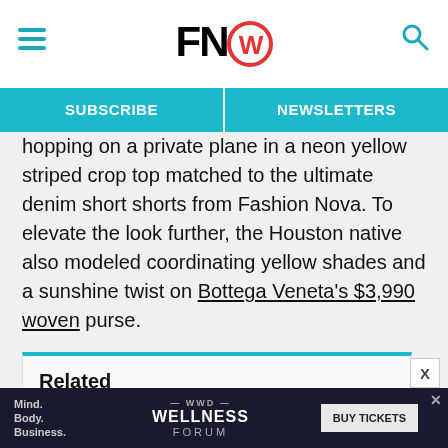FNW (Footwear News logo) — hamburger menu and search icon
SUBSCRIBE | NEWSLETTERS
hopping on a private plane in a neon yellow striped crop top matched to the ultimate denim short shorts from Fashion Nova. To elevate the look further, the Houston native also modeled coordinating yellow shades and a sunshine twist on Bottega Veneta’s $3,990 woven purse.
The finishing touch for the ensemble came in the form of the chunkiest block heel mules; the design featured a pearl white base with soft pink uppers.
Related